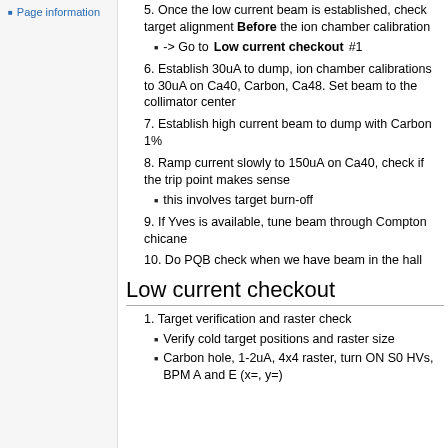Page information
Once the low current beam is established, check target alignment Before the ion chamber calibration
  -> Go to Low current checkout #1
-> Go to Low current checkout #1
Establish 30uA to dump, ion chamber calibrations to 30uA on Ca40, Carbon, Ca48. Set beam to the collimator center
Establish high current beam to dump with Carbon 1%
Ramp current slowly to 150uA on Ca40, check if the trip point makes sense
  this involves target burn-off
this involves target burn-off
If Yves is available, tune beam through Compton chicane
Do PQB check when we have beam in the hall
Low current checkout
Target verification and raster check
Verify cold target positions and raster size
Carbon hole, 1-2uA, 4x4 raster, turn ON S0 HVs, BPM A and E (x=, y=)